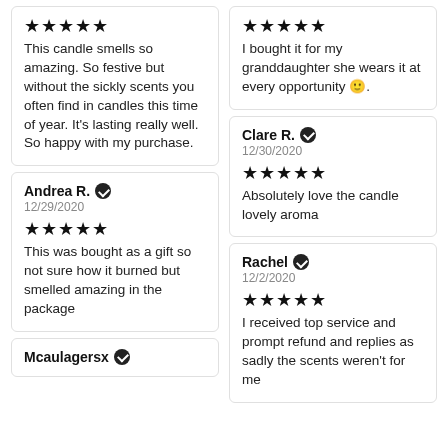★★★★★
This candle smells so amazing. So festive but without the sickly scents you often find in candles this time of year. It's lasting really well. So happy with my purchase.
★★★★★
I bought it for my granddaughter she wears it at every opportunity 🙂.
Andrea R. ✔ 12/29/2020
★★★★★
This was bought as a gift so not sure how it burned but smelled amazing in the package
Clare R. ✔ 12/30/2020
★★★★★
Absolutely love the candle lovely aroma
Rachel ✔ 12/2/2020
★★★★★
I received top service and prompt refund and replies as sadly the scents weren't for me
Mcaulagersx ✔